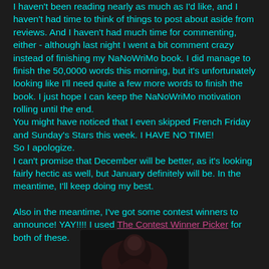I haven't been reading nearly as much as I'd like, and I haven't had time to think of things to post about aside from reviews. And I haven't had much time for commenting, either - although last night I went a bit comment crazy instead of finishing my NaNoWriMo book. I did manage to finish the 50,0000 words this morning, but it's unfortunately looking like I'll need quite a few more words to finish the book. I just hope I can keep the NaNoWriMo motivation rolling until the end.
You might have noticed that I even skipped French Friday and Sunday's Stars this week. I HAVE NO TIME!
So I apologize.
I can't promise that December will be better, as it's looking fairly hectic as well, but January definitely will be. In the meantime, I'll keep doing my best.

Also in the meantime, I've got some contest winners to announce! YAY!!!! I used The Contest Winner Picker for both of these.
[Figure (photo): Partially visible dark image at the bottom of the page, appears to show a figure or face against a dark background]